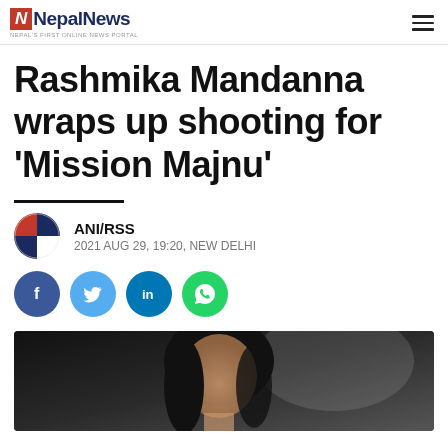NepailNews — NEPAL'S FIRST ONLINE NEWS PORTAL
Rashmika Mandanna wraps up shooting for 'Mission Majnu'
ANI/RSS
2021 AUG 29, 19:20, NEW DELHI
[Figure (photo): Social share buttons: Facebook, Twitter, LinkedIn, WhatsApp]
[Figure (photo): Photo of Rashmika Mandanna, a young woman with long dark hair, partially visible in the bottom portion of the page]